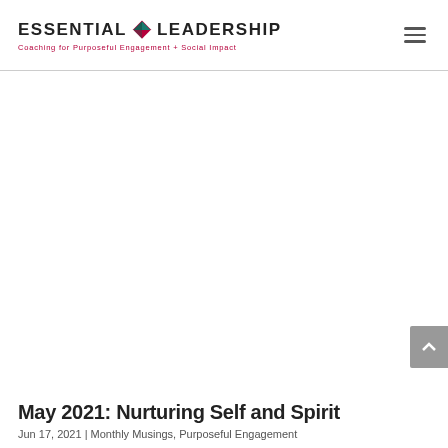ESSENTIAL LEADERSHIP — Coaching for Purposeful Engagement + Social Impact
May 2021: Nurturing Self and Spirit
Jun 17, 2021 | Monthly Musings, Purposeful Engagement